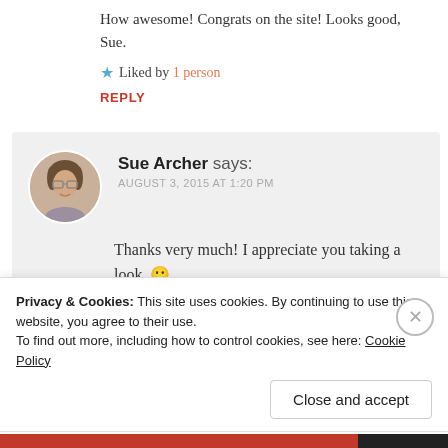How awesome! Congrats on the site! Looks good, Sue.
★ Liked by 1 person
REPLY
Sue Archer says:
AUGUST 3, 2015 AT 1:20 PM
Thanks very much! I appreciate you taking a look. 🙂
★ Like
Privacy & Cookies: This site uses cookies. By continuing to use this website, you agree to their use.
To find out more, including how to control cookies, see here: Cookie Policy
Close and accept